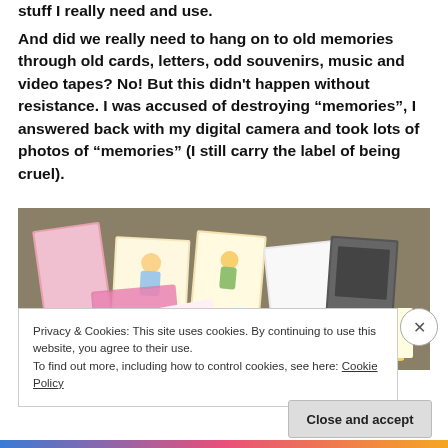stuff I really need and use.
And did we really need to hang on to old memories through old cards, letters, odd souvenirs, music and video tapes? No! But this didn't happen without resistance. I was accused of destroying “memories”, I answered back with my digital camera and took lots of photos of “memories” (I still carry the label of being cruel).
[Figure (photo): Photo of a pile of old greeting cards and souvenirs spread out on a carpet floor]
Privacy & Cookies: This site uses cookies. By continuing to use this website, you agree to their use.
To find out more, including how to control cookies, see here: Cookie Policy
Close and accept